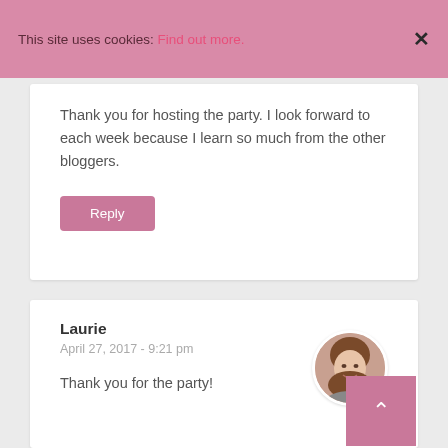This site uses cookies: Find out more.
Thank you for hosting the party. I look forward to each week because I learn so much from the other bloggers.
Reply
Laurie
April 27, 2017 - 9:21 pm
[Figure (photo): Circular avatar photo of a woman with brown hair, smiling]
Thank you for the party!